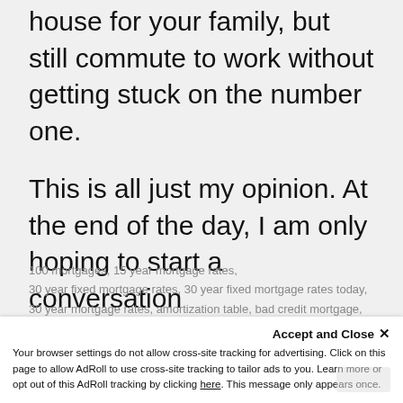house for your family, but still commute to work without getting stuck on the number one.
This is all just my opinion. At the end of the day, I am only hoping to start a conversation
100 mortgages, 15 year mortgage rates, 30 year fixed mortgage rates, 30 year fixed mortgage rates today, 30 year mortgage rates, amortization table, bad credit mortgage, best mortgage deals, best mortgage lenders, best mortgage rates, Burnaby, buy to let mortgage, calculate mortgage,
Accept and Close ✕
Your browser settings do not allow cross-site tracking for advertising. Click on this page to allow AdRoll to use cross-site tracking to tailor ads to you. Learn more or opt out of this AdRoll tracking by clicking here. This message only appears once.